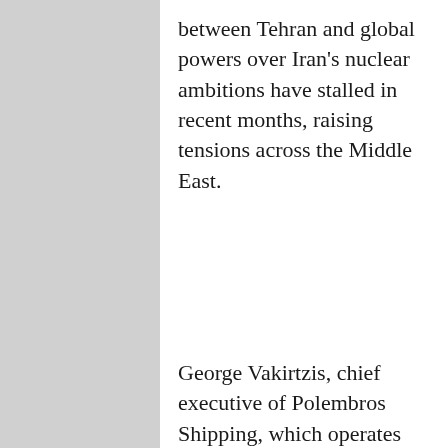between Tehran and global powers over Iran's nuclear ambitions have stalled in recent months, raising tensions across the Middle East.
George Vakirtzis, chief executive of Polembros Shipping, which operates the Prudent Warrior, said the ship was seized in